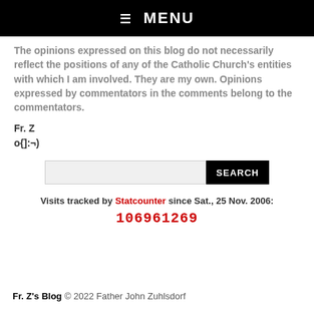☰ MENU
The opinions expressed on this blog do not necessarily reflect the positions of any of the Catholic Church's entities with which I am involved. They are my own. Opinions expressed by commentators in the comments belong to the commentators.
Fr. Z
o{]:¬)
[Figure (other): Search input field with SEARCH button]
Visits tracked by Statcounter since Sat., 25 Nov. 2006:
106961269
Fr. Z's Blog © 2022 Father John Zuhlsdorf